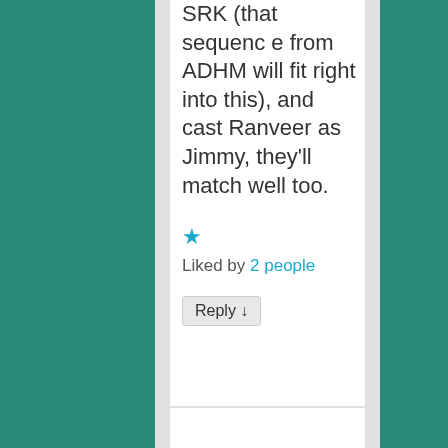SRK (that sequence from ADHM will fit right into this), and cast Ranveer as Jimmy, they'll match well too.
★ Liked by 2 people
Reply ↓